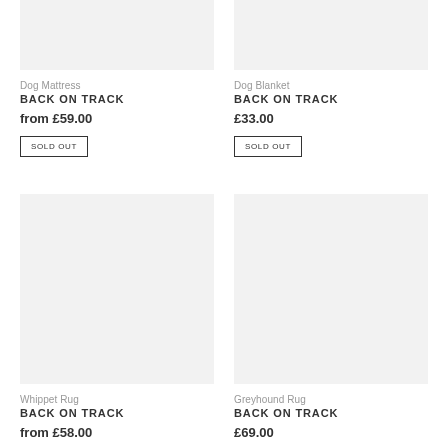[Figure (photo): Dog Mattress product image placeholder (light grey rectangle), top-left]
[Figure (photo): Dog Blanket product image placeholder (light grey rectangle), top-right]
Dog Mattress
BACK ON TRACK
from £59.00
SOLD OUT
Dog Blanket
BACK ON TRACK
£33.00
SOLD OUT
[Figure (photo): Whippet Rug product image placeholder (light grey rectangle), bottom-left]
[Figure (photo): Greyhound Rug product image placeholder (light grey rectangle), bottom-right]
Whippet Rug
BACK ON TRACK
from £58.00
Greyhound Rug
BACK ON TRACK
£69.00